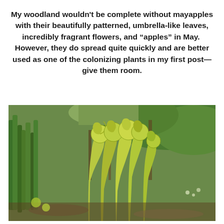My woodland wouldn't be complete without mayapples with their beautifully patterned, umbrella-like leaves, incredibly fragrant flowers, and “apples” in May.  However, they do spread quite quickly and are better used as one of the colonizing plants in my first post—give them room.
[Figure (photo): Photograph of emerging plant fronds (fiddleheads/unfurling fern-like shoots) in a woodland garden setting with lush green foliage and trees in the background.]